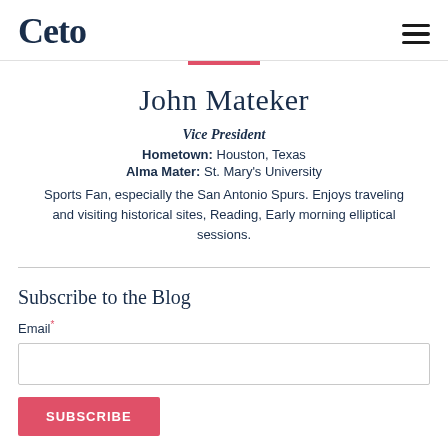Ceto
John Mateker
Vice President
Hometown: Houston, Texas
Alma Mater: St. Mary's University
Sports Fan, especially the San Antonio Spurs. Enjoys traveling and visiting historical sites, Reading, Early morning elliptical sessions.
Subscribe to the Blog
Email*